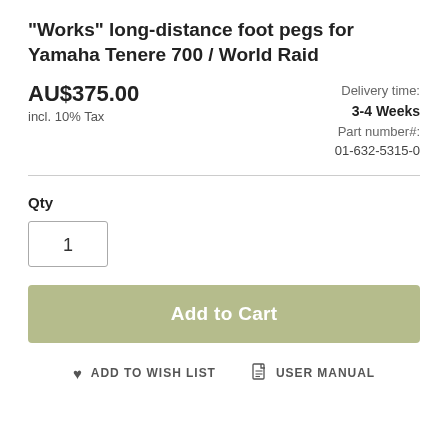"Works" long-distance foot pegs for Yamaha Tenere 700 / World Raid
AU$375.00
incl. 10% Tax
Delivery time:
3-4 Weeks
Part number#:
01-632-5315-0
Qty
1
Add to Cart
ADD TO WISH LIST
USER MANUAL